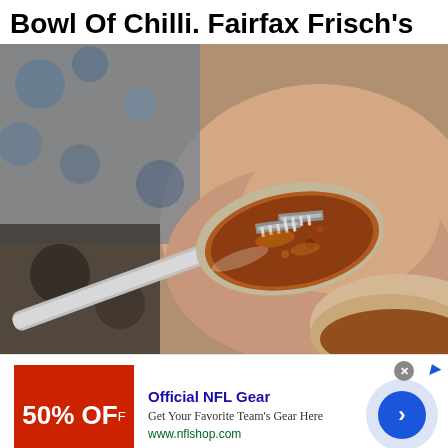Bowl Of Chilli. Fairfax Frisch's
[Figure (photo): Close-up photo of a spoon holding chilli, with a bowl of chilli visible in the background. The spoon appears to contain razor blades embedded in the chilli.]
[Figure (screenshot): Advertisement for Official NFL Gear showing a red box with '50% OFF' text, ad title 'Official NFL Gear', description 'Get Your Favorite Team's Gear Here', URL 'www.nflshop.com', and a blue circle arrow button on the right.]